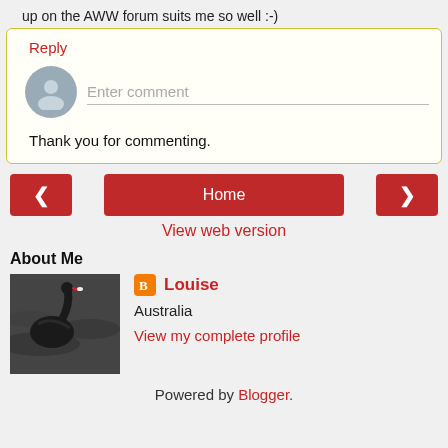up on the AWW forum suits me so well :-)
Reply
Enter comment
Thank you for commenting.
< Home >
View web version
About Me
[Figure (photo): Black swan photo used as profile picture]
Louise
Australia
View my complete profile
Powered by Blogger.